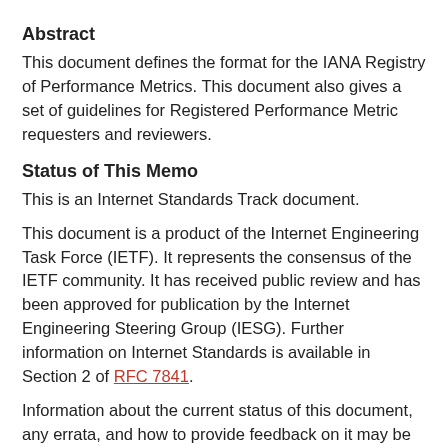Abstract
This document defines the format for the IANA Registry of Performance Metrics. This document also gives a set of guidelines for Registered Performance Metric requesters and reviewers.
Status of This Memo
This is an Internet Standards Track document.
This document is a product of the Internet Engineering Task Force (IETF). It represents the consensus of the IETF community. It has received public review and has been approved for publication by the Internet Engineering Steering Group (IESG). Further information on Internet Standards is available in Section 2 of RFC 7841.
Information about the current status of this document, any errata, and how to provide feedback on it may be obtained at https://www.rfc-editor.org/info/rfc8911.